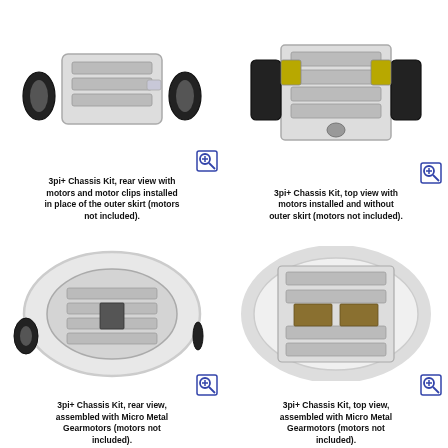[Figure (photo): 3pi+ Chassis Kit rear view with motors and motor clips installed in place of the outer skirt, motors not included]
3pi+ Chassis Kit, rear view with motors and motor clips installed in place of the outer skirt (motors not included).
[Figure (photo): 3pi+ Chassis Kit top view with motors installed and without outer skirt, motors not included]
3pi+ Chassis Kit, top view with motors installed and without outer skirt (motors not included).
[Figure (photo): 3pi+ Chassis Kit rear view assembled with Micro Metal Gearmotors, motors not included]
3pi+ Chassis Kit, rear view, assembled with Micro Metal Gearmotors (motors not included).
[Figure (photo): 3pi+ Chassis Kit top view assembled with Micro Metal Gearmotors, motors not included]
3pi+ Chassis Kit, top view, assembled with Micro Metal Gearmotors (motors not included).